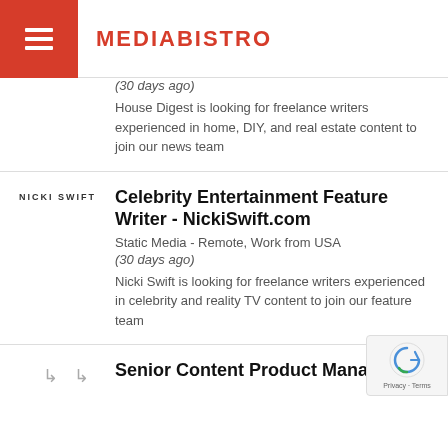MEDIABISTRO
(30 days ago)
House Digest is looking for freelance writers experienced in home, DIY, and real estate content to join our news team
Celebrity Entertainment Feature Writer - NickiSwift.com
Static Media - Remote, Work from USA
(30 days ago)
Nicki Swift is looking for freelance writers experienced in celebrity and reality TV content to join our feature team
Senior Content Product Manager